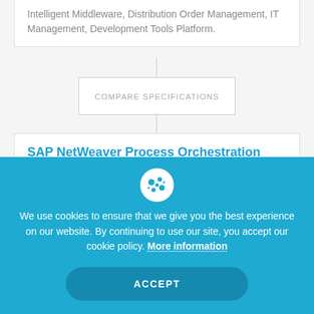Intelligent Middleware, Distribution Order Management, IT Management, Development Tools Platform.
COMPARE SPECIFICATIONS
SAP NetWeaver Process Orchestration Specifications
| ITQlick | 91/100 |
| --- | --- |
We use cookies to ensure that we give you the best experience on our website. By continuing to use our site, you accept our cookie policy. More information
ACCEPT